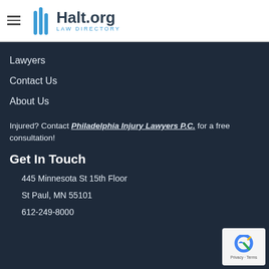Halt.org Law Directory
Lawyers
Contact Us
About Us
Injured? Contact Philadelphia Injury Lawyers P.C. for a free consultation!
Get In Touch
445 Minnesota St 15th Floor
St Paul, MN 55101
612-249-8000